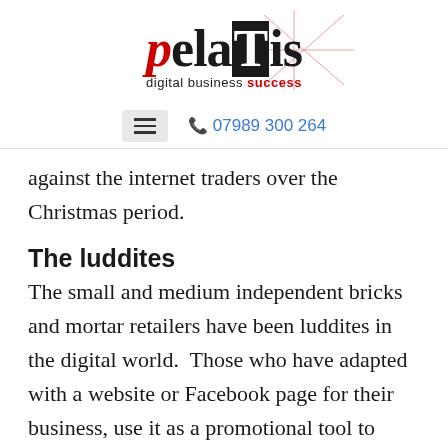[Figure (logo): pelaTis digital business success logo with decorative red crosshair lines]
☰  📞 07989 300 264
against the internet traders over the Christmas period.
The luddites
The small and medium independent bricks and mortar retailers have been luddites in the digital world.  Those who have adapted with a website or Facebook page for their business, use it as a promotional tool to encourage people to go to their shops.